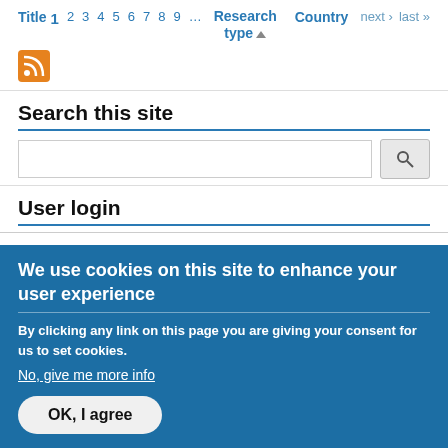Title 1 2 3 4 5 6 7 8 9 ... Research type ▲ Country next › last »
[Figure (other): RSS feed orange icon]
Search this site
Search input field with search button
User login
We use cookies on this site to enhance your user experience
By clicking any link on this page you are giving your consent for us to set cookies.
No, give me more info
OK, I agree